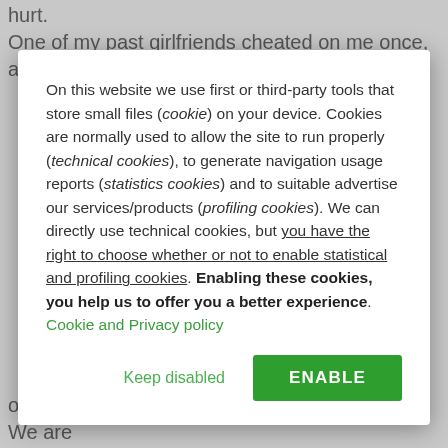hurt.
One of my past girlfriends cheated on me once, and she told
On this website we use first or third-party tools that store small files (cookie) on your device. Cookies are normally used to allow the site to run properly (technical cookies), to generate navigation usage reports (statistics cookies) and to suitable advertise our services/products (profiling cookies). We can directly use technical cookies, but you have the right to choose whether or not to enable statistical and profiling cookies. Enabling these cookies, you help us to offer you a better experience. Cookie and Privacy policy
Keep disabled
ENABLE
over-stimulating society, always crave for more. We are